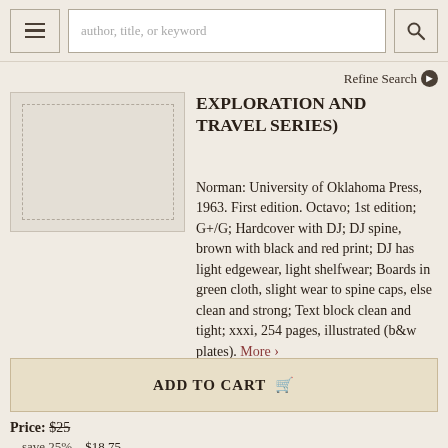author, title, or keyword [search bar]
Refine Search
[Figure (illustration): Book cover thumbnail placeholder image with dashed border]
EXPLORATION AND TRAVEL SERIES)
Norman: University of Oklahoma Press, 1963. First edition. Octavo; 1st edition; G+/G; Hardcover with DJ; DJ spine, brown with black and red print; DJ has light edgewear, light shelfwear; Boards in green cloth, slight wear to spine caps, else clean and strong; Text block clean and tight; xxxi, 254 pages, illustrated (b&w plates). More >
ADD TO CART
Price: $25
save 25%   $18.75